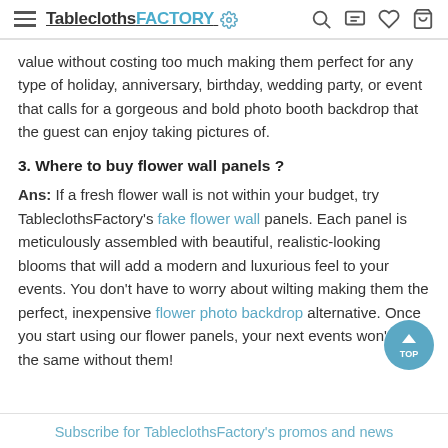TableclothsFACTORY
value without costing too much making them perfect for any type of holiday, anniversary, birthday, wedding party, or event that calls for a gorgeous and bold photo booth backdrop that the guest can enjoy taking pictures of.
3. Where to buy flower wall panels ?
Ans: If a fresh flower wall is not within your budget, try TableclothsFactory's fake flower wall panels. Each panel is meticulously assembled with beautiful, realistic-looking blooms that will add a modern and luxurious feel to your events. You don't have to worry about wilting making them the perfect, inexpensive flower photo backdrop alternative. Once you start using our flower panels, your next events won't feel the same without them!
Subscribe for TableclothsFactory's promos and news